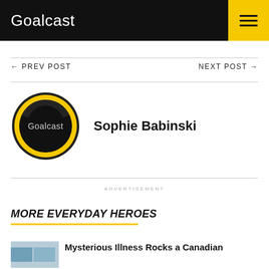Goalcast
← PREV POST   NEXT POST →
[Figure (logo): Goalcast circular logo — black circle with yellow ring and white Goalcast text]
Sophie Babinski
ADVERTISEMENT
MORE EVERYDAY HEROES
Mysterious Illness Rocks a Canadian